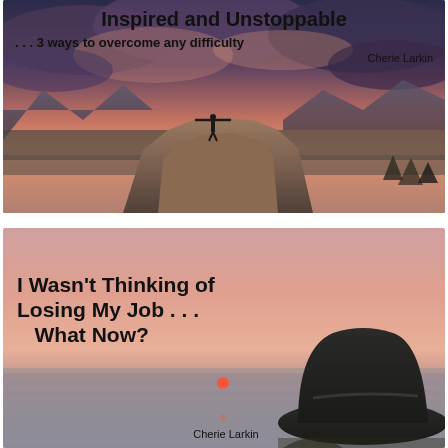[Figure (illustration): Book cover 1: Person standing arms outstretched on a large rock against a dramatic cloudy sky at sunset. Title: 'Inspired and Unstoppable', subtitle: '...3 ways to overcome any difficulty', author: Cherie Larkin]
[Figure (illustration): Book cover 2: Silhouette of a person in a hat viewed from behind, against a pink/purple sunset over water. Title: 'I Wasn't Thinking of Losing My Job ... What Now?', author: Cherie Larkin]